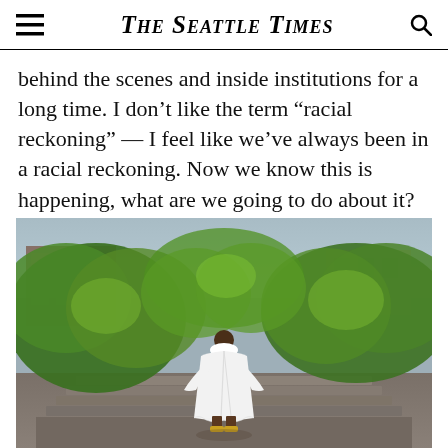The Seattle Times
behind the scenes and inside institutions for a long time. I don’t like the term “racial reckoning” — I feel like we’ve always been in a racial reckoning. Now we know this is happening, what are we going to do about it?
[Figure (photo): A person wearing a flowing white robe/gown walks up outdoor stairs surrounded by lush green foliage and trees, viewed from behind. Buildings are visible in the background.]